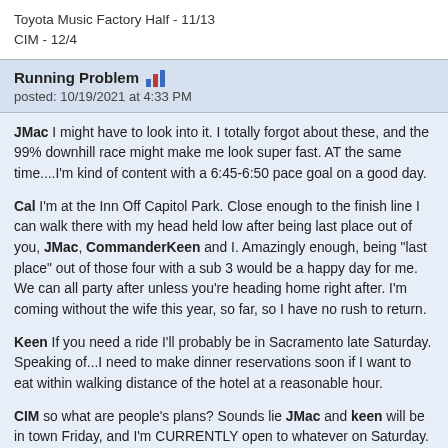Toyota Music Factory Half - 11/13
CIM - 12/4
Running Problem  [chart icon]
posted: 10/19/2021 at 4:33 PM
JMac I might have to look into it. I totally forgot about these, and the 99% downhill race might make me look super fast. AT the same time....I'm kind of content with a 6:45-6:50 pace goal on a good day.
Cal I'm at the Inn Off Capitol Park. Close enough to the finish line I can walk there with my head held low after being last place out of you, JMac, CommanderKeen and I. Amazingly enough, being "last place" out of those four with a sub 3 would be a happy day for me. We can all party after unless you're heading home right after. I'm coming without the wife this year, so far, so I have no rush to return.
Keen If you need a ride I'll probably be in Sacramento late Saturday. Speaking of...I need to make dinner reservations soon if I want to eat within walking distance of the hotel at a reasonable hour.
CIM so what are people's plans? Sounds lie JMac and keen will be in town Friday, and I'm CURRENTLY open to whatever on Saturday. I have a 3pm scheduled Expo appointment. PREVIOUSLY, a local group would schedule a